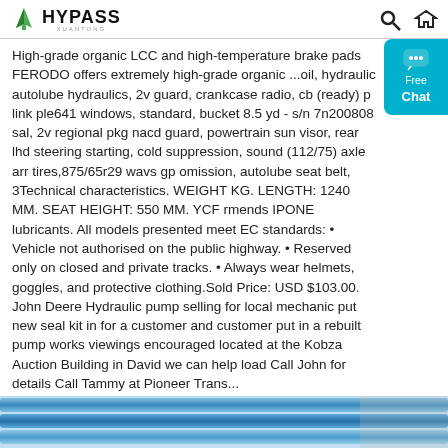HYPASS XUANTONG
High-grade organic LCC and high-temperature brake pads FERODO offers extremely high-grade organic ...oil, hydraulic autolube hydraulics, 2v guard, crankcase radio, cb (ready) p link ple641 windows, standard, bucket 8.5 yd - s/n 7n200808 sal, 2v regional pkg nacd guard, powertrain sun visor, rear lhd steering starting, cold suppression, sound (112/75) axle arr tires,875/65r29 wavs gp omission, autolube seat belt, 3Technical characteristics. WEIGHT KG. LENGTH: 1240 MM. SEAT HEIGHT: 550 MM. YCF rmends IPONE lubricants. All models presented meet EC standards: • Vehicle not authorised on the public highway. • Reserved only on closed and private tracks. • Always wear helmets, goggles, and protective clothing.Sold Price: USD $103.00. John Deere Hydraulic pump selling for local mechanic put new seal kit in for a customer and customer put in a rebuilt pump works viewings encouraged located at the Kobza Auction Building in David we can help load Call John for details Call Tammy at Pioneer Trans...
[Figure (photo): Blue hydraulic pipes/tubes at the bottom of the page]